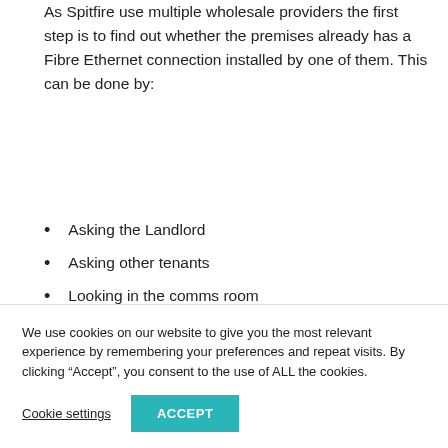As Spitfire use multiple wholesale providers the first step is to find out whether the premises already has a Fibre Ethernet connection installed by one of them. This can be done by:
Asking the Landlord
Asking other tenants
Looking in the comms room
External work could be required to get Fibre into the building; this could be as drastic as the
We use cookies on our website to give you the most relevant experience by remembering your preferences and repeat visits. By clicking “Accept”, you consent to the use of ALL the cookies.
Cookie settings
ACCEPT